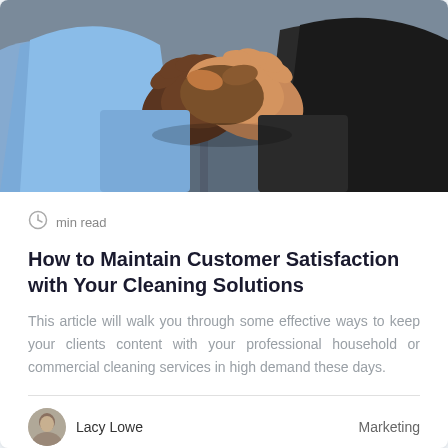[Figure (photo): Close-up photograph of two people shaking hands. One person wearing a light blue shirt, the other in a dark jacket. Business handshake context with blurred office background.]
min read
How to Maintain Customer Satisfaction with Your Cleaning Solutions
This article will walk you through some effective ways to keep your clients content with your professional household or commercial cleaning services in high demand these days.
Lacy Lowe
Marketing